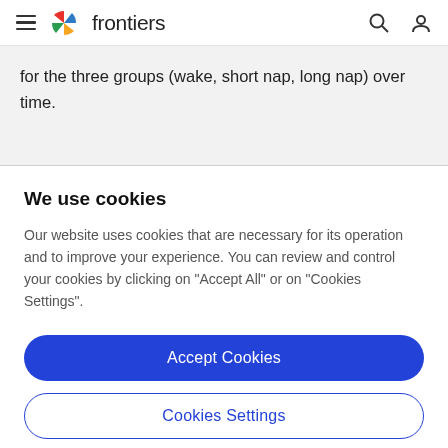frontiers
for the three groups (wake, short nap, long nap) over time.
We use cookies
Our website uses cookies that are necessary for its operation and to improve your experience. You can review and control your cookies by clicking on "Accept All" or on "Cookies Settings".
Accept Cookies
Cookies Settings